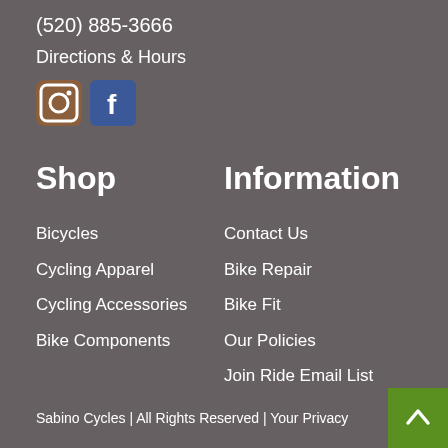(520) 885-3666
Directions & Hours
[Figure (logo): Instagram and Facebook social media icons]
Shop
Information
Bicycles
Cycling Apparel
Cycling Accessories
Bike Components
Contact Us
Bike Repair
Bike Fit
Our Policies
Join Ride Email List
Sabino Cycles | All Rights Reserved | Your Privacy